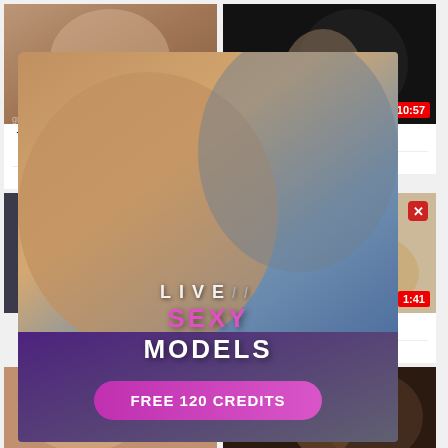[Figure (screenshot): Video thumbnail showing couple]
The best girlfriend applauded riding on it
Girlfriend
[Figure (screenshot): Video thumbnail dark]
asian gf 69 ft.Vesper Lynd
69  Girlfriend  HD
[Figure (screenshot): Video thumbnail lower left]
[Figure (screenshot): Video thumbnail lower right with duration 1:41]
ny big ass Chinese girlfriend
Big Ass  Girlfriend
[Figure (infographic): Live Sexy Models overlay advertisement with FREE 120 CREDITS button]